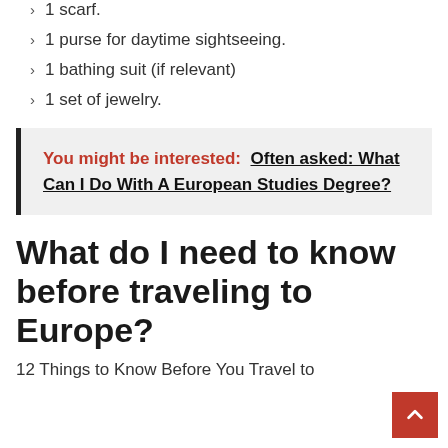1 scarf.
1 purse for daytime sightseeing.
1 bathing suit (if relevant)
1 set of jewelry.
You might be interested:  Often asked: What Can I Do With A European Studies Degree?
What do I need to know before traveling to Europe?
12 Things to Know Before You Travel to